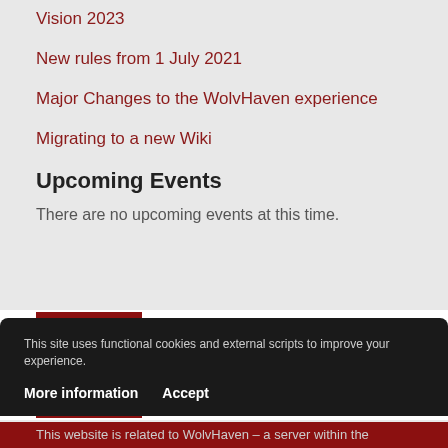Vision 2023
New rules from 1 July 2021
Major Changes to the WolvHaven experience
Migrating to a new Wiki
Upcoming Events
There are no upcoming events at this time.
[Figure (logo): WolvHaven logo: dark red square with white wolf head graphic, followed by bold dark red text 'WOLVHAVEN']
This site uses functional cookies and external scripts to improve your experience.
More information   Accept
This website is related to WolvHaven – a server within the